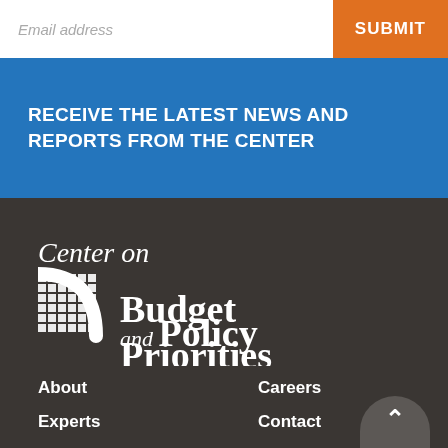Email address
SUBMIT
RECEIVE THE LATEST NEWS AND REPORTS FROM THE CENTER
[Figure (logo): Center on Budget and Policy Priorities logo with grid/arc icon in white on dark background]
About
Careers
Experts
Contact